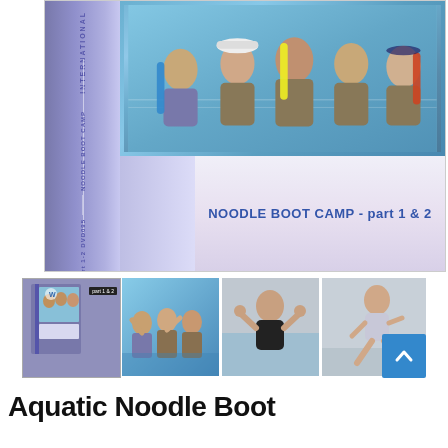[Figure (photo): DVD cover for 'Noodle Boot Camp - part 1 & 2' (DVD095). Shows a purple/blue spine with 'INTERNATIONAL' and 'NOODLE BOOT CAMP | DVD095 part 1-2' text. Main area shows group of people in a swimming pool doing aqua fitness with pool noodles. Bottom of cover reads 'NOODLE BOOT CAMP - part 1 & 2' in blue bold text.]
[Figure (photo): Row of four thumbnail images: (1) DVD case front cover thumbnail with 'part 1 & 2' label, (2) group of people doing aqua aerobics in pool, (3) woman doing fitness pose (flexing) in water, (4) woman running/jogging on dry ground. A teal/blue scroll-to-top button appears at bottom right.]
Aquatic Noodle Boot...